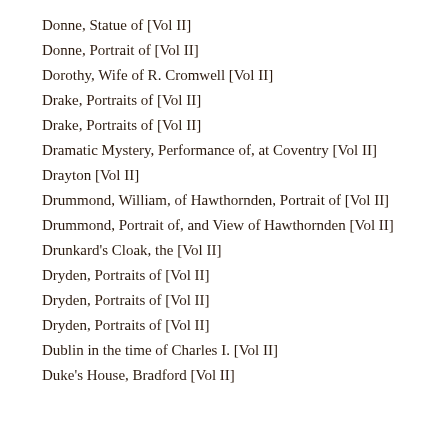Donne, Statue of [Vol II]
Donne, Portrait of [Vol II]
Dorothy, Wife of R. Cromwell [Vol II]
Drake, Portraits of [Vol II]
Drake, Portraits of [Vol II]
Dramatic Mystery, Performance of, at Coventry [Vol II]
Drayton [Vol II]
Drummond, William, of Hawthornden, Portrait of [Vol II]
Drummond, Portrait of, and View of Hawthornden [Vol II]
Drunkard's Cloak, the [Vol II]
Dryden, Portraits of [Vol II]
Dryden, Portraits of [Vol II]
Dryden, Portraits of [Vol II]
Dublin in the time of Charles I. [Vol II]
Duke's House, Bradford [Vol II]